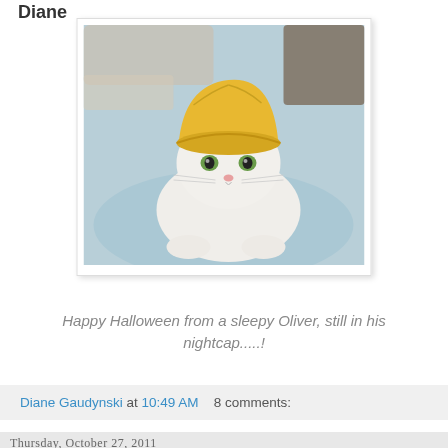Diane
[Figure (photo): A white cat wearing a yellow cap/hat, sitting on a light blue bed. The cat has green eyes and looks directly at the camera.]
Happy Halloween from a sleepy Oliver, still in his nightcap.....!
Diane Gaudynski at 10:49 AM   8 comments:
Thursday, October 27, 2011